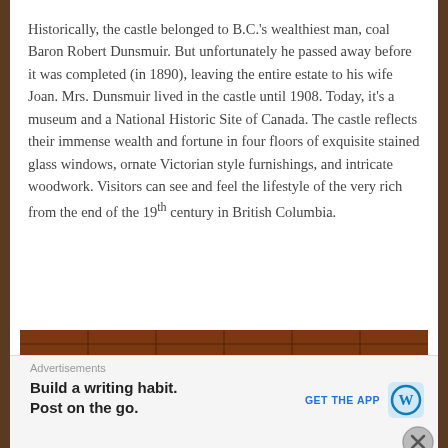Historically, the castle belonged to B.C.'s wealthiest man, coal Baron Robert Dunsmuir. But unfortunately he passed away before it was completed (in 1890), leaving the entire estate to his wife Joan. Mrs. Dunsmuir lived in the castle until 1908. Today, it's a museum and a National Historic Site of Canada. The castle reflects their immense wealth and fortune in four floors of exquisite stained glass windows, ornate Victorian style furnishings, and intricate woodwork. Visitors can see and feel the lifestyle of the very rich from the end of the 19th century in British Columbia.
[Figure (photo): Interior photo of the castle showing ornate dark wood paneling, a staircase with decorative railing, and a coffered wooden ceiling]
Advertisements
Build a writing habit. Post on the go.
GET THE APP